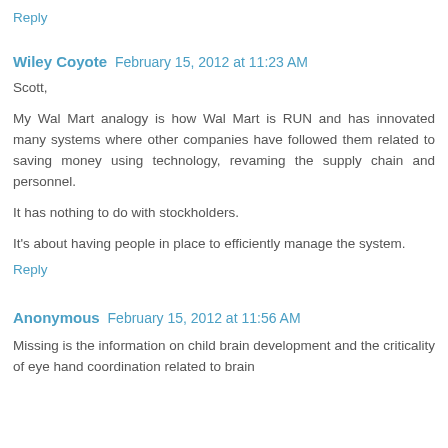Reply
Wiley Coyote  February 15, 2012 at 11:23 AM
Scott,
My Wal Mart analogy is how Wal Mart is RUN and has innovated many systems where other companies have followed them related to saving money using technology, revaming the supply chain and personnel.
It has nothing to do with stockholders.
It's about having people in place to efficiently manage the system.
Reply
Anonymous  February 15, 2012 at 11:56 AM
Missing is the information on child brain development and the criticality of eye hand coordination related to brain